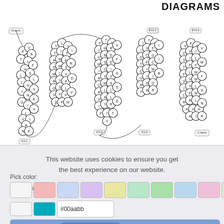DIAGRAMS
[Figure (schematic): Snake plot / helix diagram of a GPCR protein showing transmembrane helices labeled ECL1, ECL2, ICL1, ICL2, ICL3 with N-term and C-term. Each helix is represented as a column of circles containing single-letter amino acid codes (e.g., E, V, A, T, L, F, etc.). Topology diagram shows extracellular loops (ECL) at top and intracellular loops (ICL) at bottom.]
This website uses cookies to ensure you get the best experience on our website.
Pick color:
Learn more
#00aabb
Properties
Got it!
Show Invitro Mutants
Show Interactions from